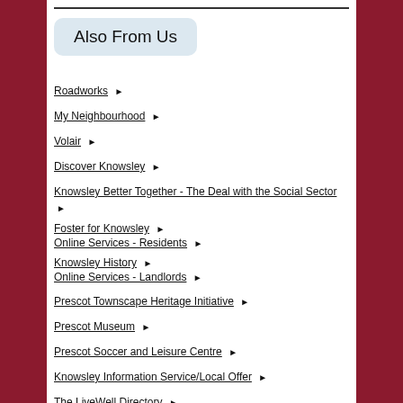Also From Us
Roadworks
My Neighbourhood
Volair
Discover Knowsley
Knowsley Better Together - The Deal with the Social Sector
Foster for Knowsley / Online Services - Residents
Knowsley History / Online Services - Landlords
Prescot Townscape Heritage Initiative
Prescot Museum
Prescot Soccer and Leisure Centre
Knowsley Information Service/Local Offer
The LiveWell Directory
Getting Around in Knowsley
Preparing for Brexit - UK Government Advice
Coronavirus: Latest information